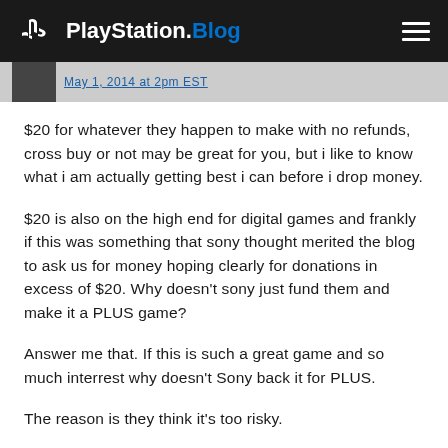PlayStation.Blog
May 1, 2014 at 2pm EST
$20 for whatever they happen to make with no refunds, cross buy or not may be great for you, but i like to know what i am actually getting best i can before i drop money.
$20 is also on the high end for digital games and frankly if this was something that sony thought merited the blog to ask us for money hoping clearly for donations in excess of $20. Why doesn't sony just fund them and make it a PLUS game?
Answer me that. If this is such a great game and so much interrest why doesn't Sony back it for PLUS.
The reason is they think it's too risky.
So that says it all doesn't it. It's bad enough wading through all the games that are releasing that are not